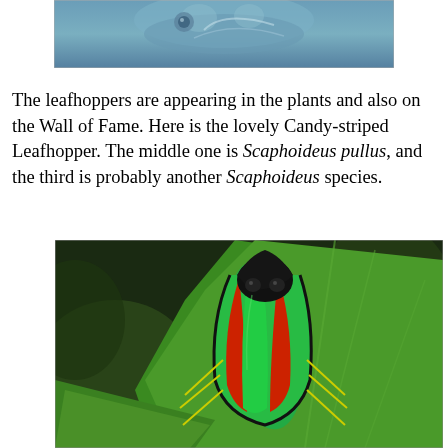[Figure (photo): Top portion of a close-up photograph of a leafhopper insect, showing blue-grey coloring, partially cropped at top of page.]
The leafhoppers are appearing in the plants and also on the Wall of Fame. Here is the lovely Candy-striped Leafhopper. The middle one is Scaphoideus pullus, and the third is probably another Scaphoideus species.
[Figure (photo): Close-up photograph of a Candy-striped Leafhopper insect on a green leaf, showing vivid red and green striped wings with black markings on top.]